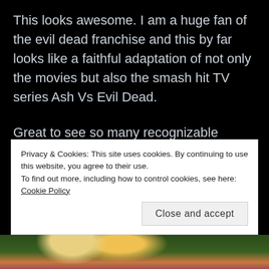This looks awesome. I am a huge fan of the evil dead franchise and this by far looks like a faithful adaptation of not only the movies but also the smash hit TV series Ash Vs Evil Dead.
Great to see so many recognizable characters from all the movies and TV shows. The staple over the top gore is faithfully recreated in the game which in my opinion is going to make this an instant success.
Privacy & Cookies: This site uses cookies. By continuing to use this website, you agree to their use. To find out more, including how to control cookies, see here: Cookie Policy
[Figure (photo): Bottom strip of an image showing a person with blonde hair, partially visible at the bottom of the page]